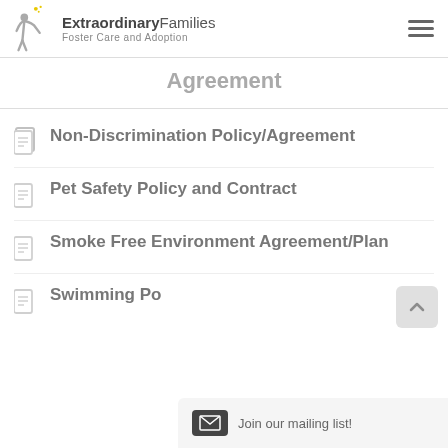Extraordinary Families Foster Care and Adoption
Agreement
Non-Discrimination Policy/Agreement
Pet Safety Policy and Contract
Smoke Free Environment Agreement/Plan
Swimming Po...